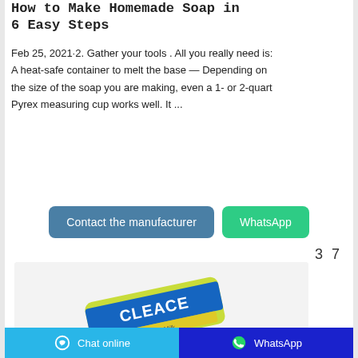How to Make Homemade Soap in 6 Easy Steps
Feb 25, 2021·2. Gather your tools . All you really need is: A heat-safe container to melt the base — Depending on the size of the soap you are making, even a 1- or 2-quart Pyrex measuring cup works well. It ...
Contact the manufacturer  WhatsApp
37
[Figure (photo): Photo of a soap bar product (Bleach/Cleace brand) with yellow and blue packaging on a light background]
Chat online   WhatsApp